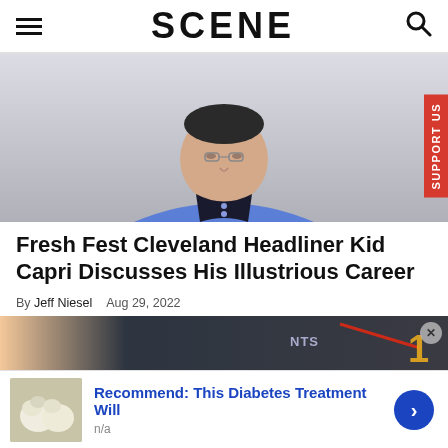SCENE
[Figure (photo): Man wearing a blue leather jacket over a black turtleneck, photographed from the chest up against a light background]
Fresh Fest Cleveland Headliner Kid Capri Discusses His Illustrious Career
By Jeff Niesel   Aug 29, 2022
[Figure (photo): Partial view of a second article image showing a dark background with red diagonal line graphic and the number 1]
[Figure (photo): Advertisement banner: Recommend: This Diabetes Treatment Will — n/a, with thumbnail of white onion/garlic bulbs]